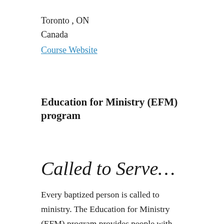Toronto , ON
Canada
Course Website
Education for Ministry (EFM) program
Called to Serve…
Every baptized person is called to ministry. The Education for Ministry (EFM) program provides people with the education to carry out that ministry. EfM offers an opportunity to discover how to respond